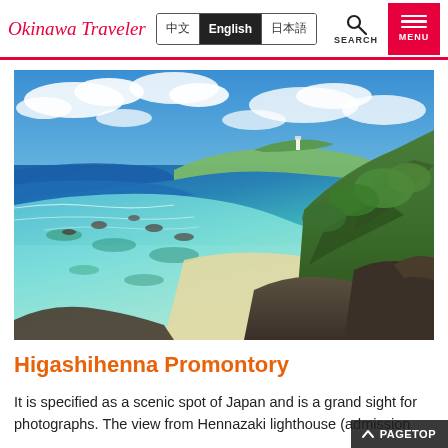Okinawa Traveler — 中文 | English | 日本語
[Figure (photo): Scenic aerial view of Higashihenna Promontory, Okinawa, showing dramatic rocky cliffs with lush green vegetation on the right, turquoise and deep blue ocean on the left, white sandy beach cove, coral reef visible underwater, and a distant white lighthouse on the peninsula tip under a partly cloudy blue sky.]
Higashihenna Promontory
It is specified as a scenic spot of Japan and is a grand sight for photographs. The view from Hennazaki lighthouse (admission